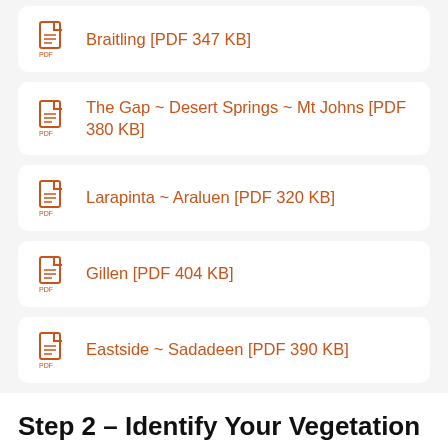Braitling [PDF 347 KB]
The Gap ~ Desert Springs ~ Mt Johns [PDF 380 KB]
Larapinta ~ Araluen [PDF 320 KB]
Gillen [PDF 404 KB]
Eastside ~ Sadadeen [PDF 390 KB]
Step 2 – Identify Your Vegetation Type
Refer to the legend, which is located on the map and identify what colour your house is in. The colours provide you with a general guide as to what the